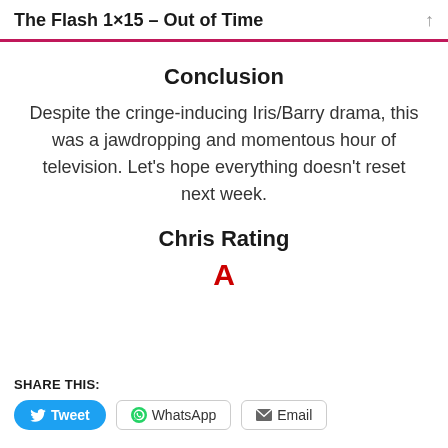The Flash 1×15 – Out of Time
Conclusion
Despite the cringe-inducing Iris/Barry drama, this was a jawdropping and momentous hour of television. Let's hope everything doesn't reset next week.
Chris Rating
A
SHARE THIS:
Tweet  WhatsApp  Email